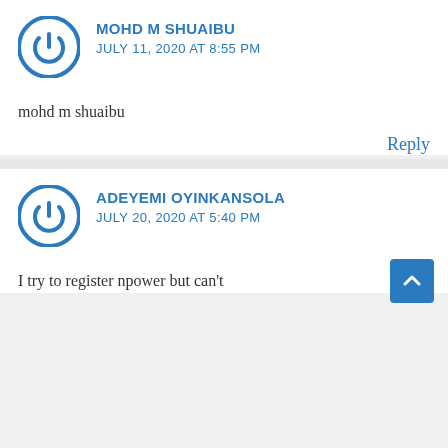MOHD M SHUAIBU
JULY 11, 2020 AT 8:55 PM
mohd m shuaibu
Reply
ADEYEMI OYINKANSOLA
JULY 20, 2020 AT 5:40 PM
I try to register npower but can't